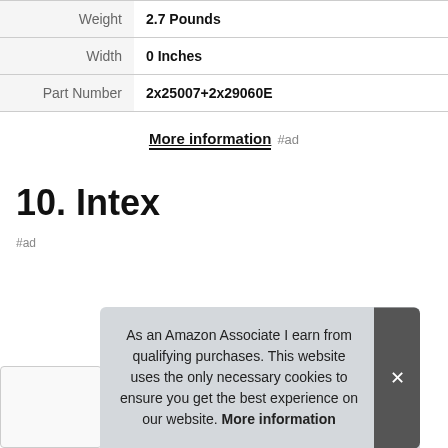|  |  |
| --- | --- |
| Weight | 2.7 Pounds |
| Width | 0 Inches |
| Part Number | 2x25007+2x29060E |
More information #ad
10. Intex
#ad
As an Amazon Associate I earn from qualifying purchases. This website uses the only necessary cookies to ensure you get the best experience on our website. More information